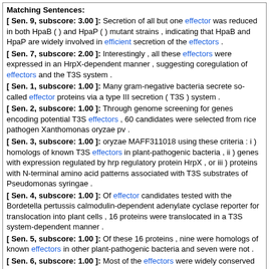Matching Sentences:
[ Sen. 9, subscore: 3.00 ]: Secretion of all but one effector was reduced in both HpaB ( ) and HpaP ( ) mutant strains , indicating that HpaB and HpaP are widely involved in efficient secretion of the effectors .
[ Sen. 7, subscore: 2.00 ]: Interestingly , all these effectors were expressed in an HrpX-dependent manner , suggesting coregulation of effectors and the T3S system .
[ Sen. 1, subscore: 1.00 ]: Many gram-negative bacteria secrete so-called effector proteins via a type III secretion ( T3S ) system .
[ Sen. 2, subscore: 1.00 ]: Through genome screening for genes encoding potential T3S effectors , 60 candidates were selected from rice pathogen Xanthomonas oryzae pv .
[ Sen. 3, subscore: 1.00 ]: oryzae MAFF311018 using these criteria : i ) homologs of known T3S effectors in plant-pathogenic bacteria , ii ) genes with expression regulated by hrp regulatory protein HrpX , or iii ) proteins with N-terminal amino acid patterns associated with T3S substrates of Pseudomonas syringae .
[ Sen. 4, subscore: 1.00 ]: Of effector candidates tested with the Bordetella pertussis calmodulin-dependent adenylate cyclase reporter for translocation into plant cells , 16 proteins were translocated in a T3S system-dependent manner .
[ Sen. 5, subscore: 1.00 ]: Of these 16 proteins , nine were homologs of known effectors in other plant-pathogenic bacteria and seven were not .
[ Sen. 6, subscore: 1.00 ]: Most of the effectors were widely conserved in Xanthomonas spp . ; however , some were specific to X oryzae .
Score: 11.00
Journal: Health Technol Assess Year: 2009
Literature: oryza Field: abstract Doc ID: pub19728934 Accession [PMID]: 19728934